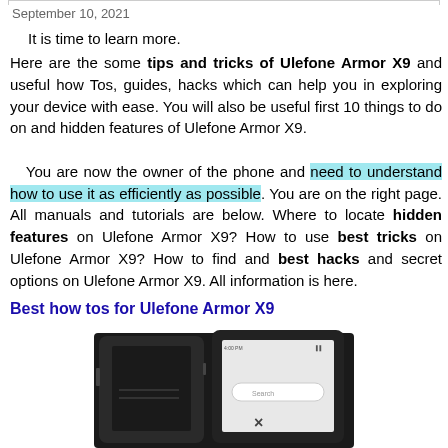September 10, 2021
It is time to learn more.
Here are the some tips and tricks of Ulefone Armor X9 and useful how Tos, guides, hacks which can help you in exploring your device with ease. You will also be useful first 10 things to do on and hidden features of Ulefone Armor X9.

You are now the owner of the phone and need to understand how to use it as efficiently as possible. You are on the right page. All manuals and tutorials are below. Where to locate hidden features on Ulefone Armor X9? How to use best tricks on Ulefone Armor X9? How to find and best hacks and secret options on Ulefone Armor X9. All information is here.
Best how tos for Ulefone Armor X9
[Figure (photo): Photo of Ulefone Armor X9 rugged smartphone, black color, showing front screen with Google search bar visible]